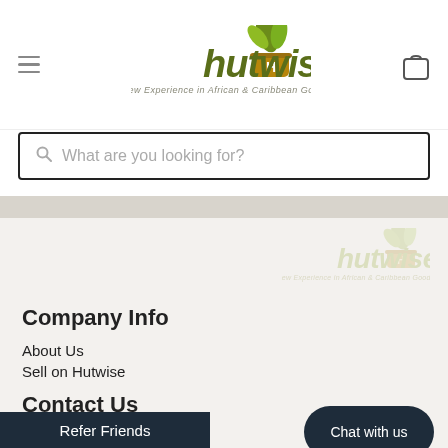[Figure (logo): Hutwise logo with plant/basket icon and text 'hutwise' with tagline 'A New Experience in African & Caribbean Goods']
What are you looking for?
[Figure (logo): Hutwise watermark logo (faded/muted) in background area]
Company Info
About Us
Sell on Hutwise
Contact Us
email:info@hutwise.com
tel:8... 344-448-8947)
Chat with us
Refer Friends